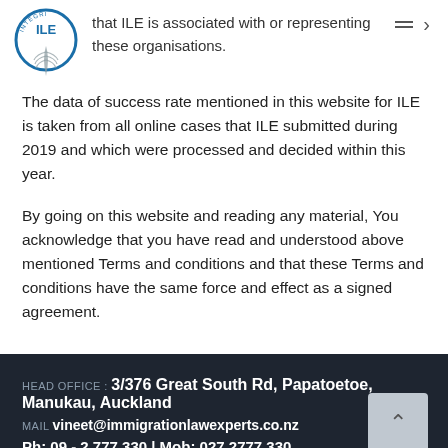[Figure (logo): ILE Immigration Law Experts circular logo with fern/leaf motif and 'INTEGRI' text around the edge]
that ILE is associated with or representing these organisations.
The data of success rate mentioned in this website for ILE is taken from all online cases that ILE submitted during 2019 and which were processed and decided within this year.
By going on this website and reading any material, You acknowledge that you have read and understood above mentioned Terms and conditions and that these Terms and conditions have the same force and effect as a signed agreement.
HEAD OFFICE : 3/376 Great South Rd, Papatoetoe, Manukau, Auckland
MAIL vineet@immigrationlawexperts.co.nz
Ph: 09 - 2 777 330 | Mob: 027 2777 330